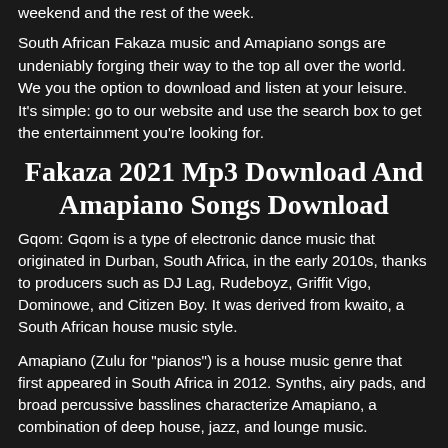weekend and the rest of the week.
South African Fakaza music and Amapiano songs are undeniably forging their way to the top all over the world. We you the option to download and listen at your leisure. It's simple: go to our website and use the search box to get the entertainment you're looking for.
Fakaza 2021 Mp3 Download And Amapiano Songs Download
Gqom: Gqom is a type of electronic dance music that originated in Durban, South Africa, in the early 2010s, thanks to producers such as DJ Lag, Rudeboyz, Griffit Vigo, Dominowe, and Citizen Boy. It was derived from kwaito, a South African house music style.
Amapiano (Zulu for "pianos") is a house music genre that first appeared in South Africa in 2012. Synths, airy pads, and broad percussive basslines characterize Amapiano, a combination of deep house, jazz, and lounge music.
Hip hop or hip-hop music, commonly known as rap music, is a popular music genre created by inner-city African Americans in the United States. In the 1970s, Puerto Ricans and Jamaicans played a key